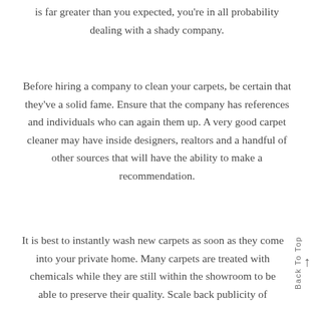is far greater than you expected, you're in all probability dealing with a shady company.
Before hiring a company to clean your carpets, be certain that they've a solid fame. Ensure that the company has references and individuals who can again them up. A very good carpet cleaner may have inside designers, realtors and a handful of other sources that will have the ability to make a recommendation.
It is best to instantly wash new carpets as soon as they come into your private home. Many carpets are treated with chemicals while they are still within the showroom to be able to preserve their quality. Scale back publicity of